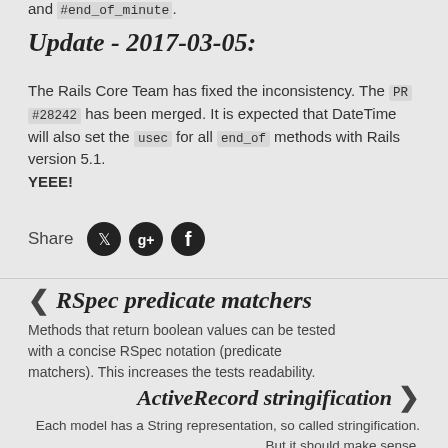and `#end_of_minute`.
Update - 2017-03-05:
The Rails Core Team has fixed the inconsistency. The PR #28242 has been merged. It is expected that DateTime will also set the usec for all end_of methods with Rails version 5.1.
YEEE!
Share
❮ RSpec predicate matchers
Methods that return boolean values can be tested with a concise RSpec notation (predicate matchers). This increases the tests readability.
ActiveRecord stringification ❯
Each model has a String representation, so called stringification. But it should make sense.